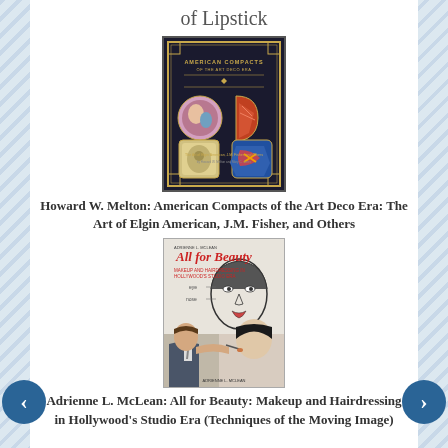of Lipstick
[Figure (photo): Book cover of 'American Compacts of the Art Deco Era' by Howard W. Melton, showing colorful art deco compact cases on a black background]
Howard W. Melton: American Compacts of the Art Deco Era: The Art of Elgin American, J.M. Fisher, and Others
[Figure (photo): Book cover of 'All for Beauty: Makeup and Hairdressing in Hollywood's Studio Era' by Adrienne L. McLean, showing a makeup artist working on a woman's face over a face diagram illustration]
Adrienne L. McLean: All for Beauty: Makeup and Hairdressing in Hollywood's Studio Era (Techniques of the Moving Image)